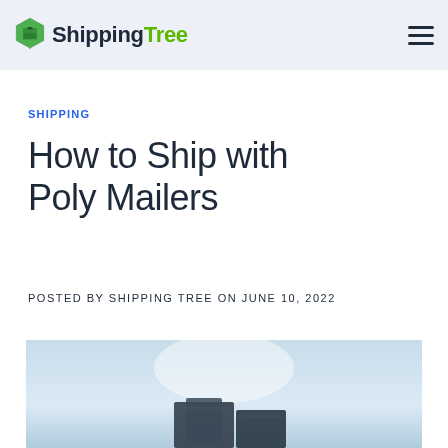ShippingTree
SHIPPING
How to Ship with Poly Mailers
POSTED BY SHIPPING TREE ON JUNE 10, 2022
[Figure (photo): Partial photo of poly mailers or shipping packages against a light sky background, cropped at bottom of page]